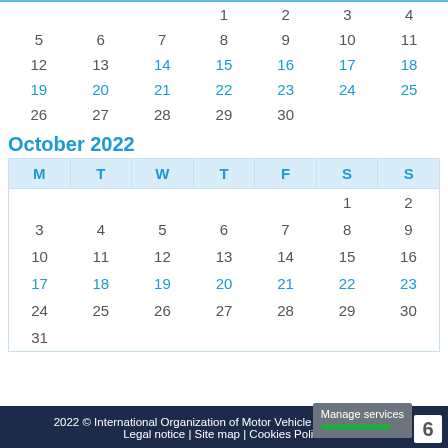| M | T | W | T | F | S | S |
| --- | --- | --- | --- | --- | --- | --- |
|  |  |  | 1 | 2 | 3 | 4 |
| 5 | 6 | 7 | 8 | 9 | 10 | 11 |
| 12 | 13 | 14 | 15 | 16 | 17 | 18 |
| 19 | 20 | 21 | 22 | 23 | 24 | 25 |
| 26 | 27 | 28 | 29 | 30 |  |  |
October 2022
| M | T | W | T | F | S | S |
| --- | --- | --- | --- | --- | --- | --- |
|  |  |  |  |  | 1 | 2 |
| 3 | 4 | 5 | 6 | 7 | 8 | 9 |
| 10 | 11 | 12 | 13 | 14 | 15 | 16 |
| 17 | 18 | 19 | 20 | 21 | 22 | 23 |
| 24 | 25 | 26 | 27 | 28 | 29 | 30 |
| 31 |  |  |  |  |  |  |
2022 © International Organization of Motor Vehicle Manufacturers | Legal notice | Site map | Cookies Poli…